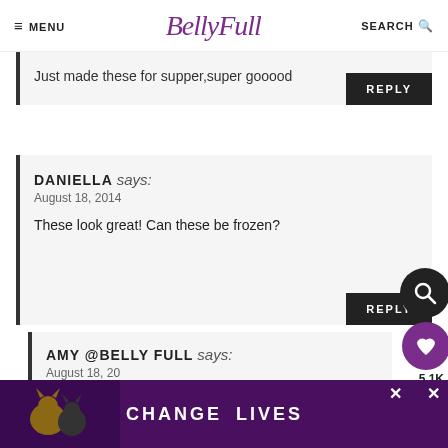MENU | BellyFull | SEARCH
Just made these for supper,super gooood
REPLY
DANIELLA says:
August 18, 2014
These look great! Can these be frozen?
REPLY
AMY @BELLY FULL says:
August 18, 2014
[Figure (screenshot): Advertisement banner: cat photo with text CHANGE LIVES in white on purple background]
5.1K